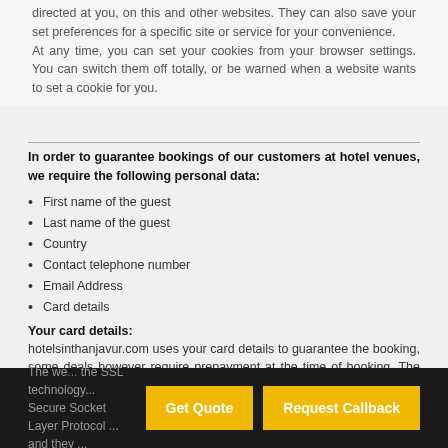directed at you, on this and other websites. They can also save your set preferences for a specific site or service for your convenience.
At any time, you can set your cookies from your browser settings. You can switch them off totally, or be warned when a website wants to set a cookie for you.
In order to guarantee bookings of our customers at hotel venues, we require the following personal data:
First name of the guest
Last name of the guest
Country
Contact telephone number
Email Address
Card details
Your card details:
hotelsinthanjavur.com uses your card details to guarantee the booking, some deals however require prepayment at the time of booking. The conditions can be found in the descriptions of the hotel and they are shown in the booking process as well.
The we... the SSL technology... Secure Socket Layer Protocol ... and they ...